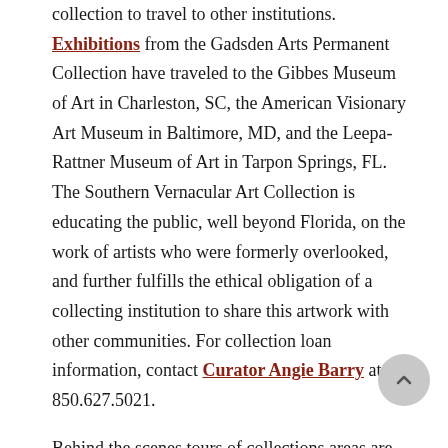collection to travel to other institutions. Exhibitions from the Gadsden Arts Permanent Collection have traveled to the Gibbes Museum of Art in Charleston, SC, the American Visionary Art Museum in Baltimore, MD, and the Leepa-Rattner Museum of Art in Tarpon Springs, FL. The Southern Vernacular Art Collection is educating the public, well beyond Florida, on the work of artists who were formerly overlooked, and further fulfills the ethical obligation of a collecting institution to share this artwork with other communities. For collection loan information, contact Curator Angie Barry at 850.627.5021.
Behind the scenes tours of collections areas are available by appointment, call Executive